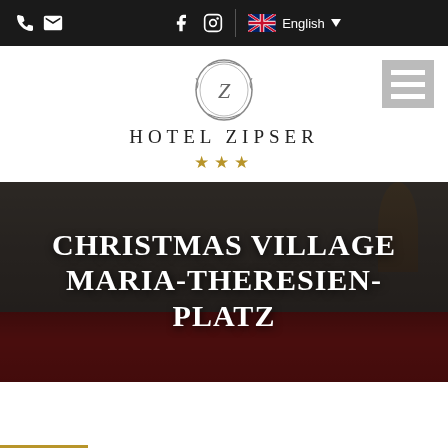Hotel Zipser website navigation bar with phone, email, Facebook, Instagram icons and English language selector
[Figure (logo): Hotel Zipser logo: ornate crest emblem above text 'HOTEL ZIPSER' and three gold stars]
CHRISTMAS VILLAGE MARIA-THERESIEN-PLATZ
[Figure (photo): Hotel room interior photo used as hero banner background, showing bed with red duvet, white curtains, and warm lamp light, overlaid with dark tint]